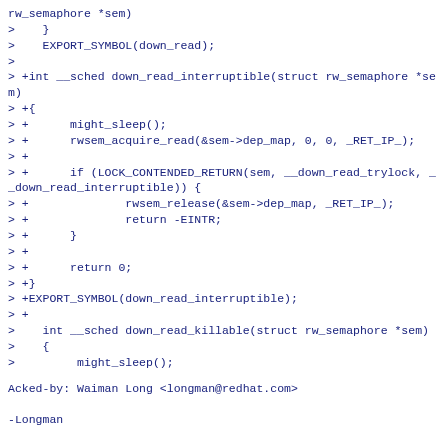rw_semaphore *sem)
>    }
>    EXPORT_SYMBOL(down_read);
>
> +int __sched down_read_interruptible(struct rw_semaphore *sem)
> +{
> +      might_sleep();
> +      rwsem_acquire_read(&sem->dep_map, 0, 0, _RET_IP_);
> +
> +      if (LOCK_CONTENDED_RETURN(sem, __down_read_trylock, __down_read_interruptible)) {
> +              rwsem_release(&sem->dep_map, _RET_IP_);
> +              return -EINTR;
> +      }
> +
> +      return 0;
> +}
> +EXPORT_SYMBOL(down_read_interruptible);
> +
>    int __sched down_read_killable(struct rw_semaphore *sem)
>    {
>         might_sleep();
Acked-by: Waiman Long <longman@redhat.com>

-Longman